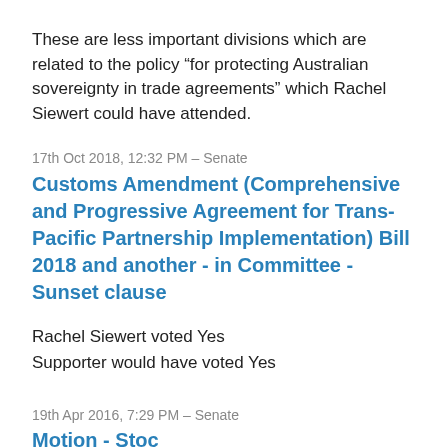These are less important divisions which are related to the policy “for protecting Australian sovereignty in trade agreements” which Rachel Siewert could have attended.
17th Oct 2018, 12:32 PM – Senate
Customs Amendment (Comprehensive and Progressive Agreement for Trans-Pacific Partnership Implementation) Bill 2018 and another - in Committee - Sunset clause
Rachel Siewert voted Yes
Supporter would have voted Yes
19th Apr 2016, 7:29 PM – Senate